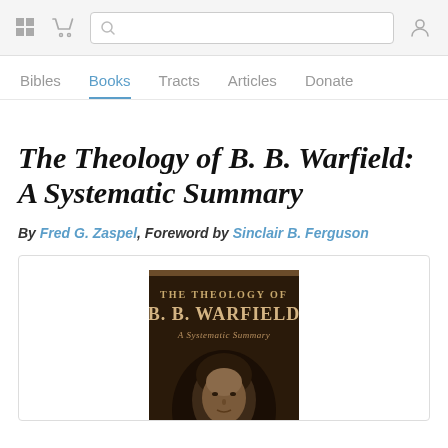Navigation bar with grid icon, cart icon, search box, user icon
Bibles  Books  Tracts  Articles  Donate
The Theology of B. B. Warfield: A Systematic Summary
By Fred G. Zaspel, Foreword by Sinclair B. Ferguson
[Figure (photo): Book cover of 'The Theology of B. B. Warfield: A Systematic Summary' showing a dark brown cover with gold/tan lettering and a portrait photograph of B. B. Warfield]